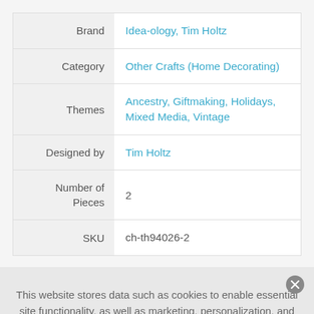| Field | Value |
| --- | --- |
| Brand | Idea-ology, Tim Holtz |
| Category | Other Crafts (Home Decorating) |
| Themes | Ancestry, Giftmaking, Holidays, Mixed Media, Vintage |
| Designed by | Tim Holtz |
| Number of Pieces | 2 |
| SKU | ch-th94026-2 |
This website stores data such as cookies to enable essential site functionality, as well as marketing, personalization, and analytics. By remaining on this website you indicate your consent. Privacy Policy